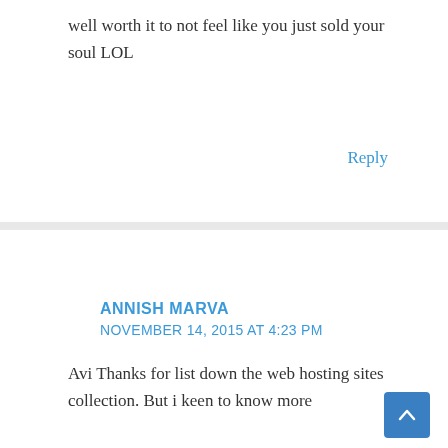well worth it to not feel like you just sold your soul LOL
Reply
ANNISH MARVA
NOVEMBER 14, 2015 AT 4:23 PM
Avi Thanks for list down the web hosting sites collection. But i keen to know more